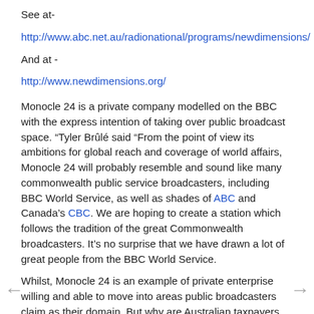See at-
http://www.abc.net.au/radionational/programs/newdimensions/
And at -
http://www.newdimensions.org/
Monocle 24 is a private company modelled on the BBC  with the express intention of taking over public broadcast space. “Tyler Brûlé said “From the point of view its ambitions for global reach and coverage of world affairs, Monocle 24 will probably resemble and sound like many commonwealth public service broadcasters, including BBC World Service, as well as shades of ABC and Canada’s CBC. We are hoping to create a station which follows the tradition of the great Commonwealth broadcasters. It’s no surprise that we have drawn a lot of great people from the BBC World Service.
Whilst, Monocle 24 is an example of private enterprise willing and able to move into areas public broadcasters claim as their domain. But why are Australian taxpayers paying the overhead costs here in Australia for this private sector body to expand its operations?
The INTERNET
The Internet enables  audiences to tune into radio broadcasts or to subscribe to broadcasts globally, so why do we need the capital cost of the ABC and SBS, simply to re-broadcast these